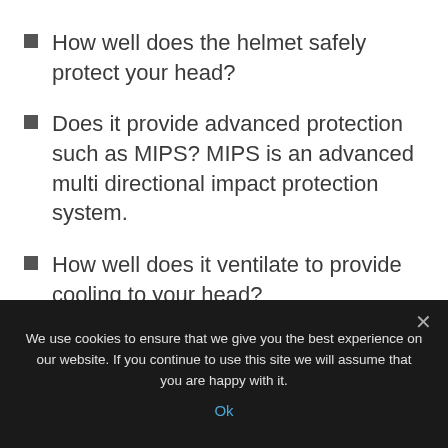How well does the helmet safely protect your head?
Does it provide advanced protection such as MIPS? MIPS is an advanced multi directional impact protection system.
How well does it ventilate to provide cooling to your head?
Is it solidly constructed like in-mold construction that binds the shell to the EPS liner?
We use cookies to ensure that we give you the best experience on our website. If you continue to use this site we will assume that you are happy with it.
Ok